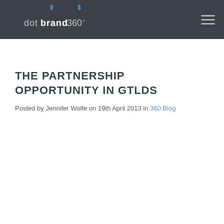dotbrand360
THE PARTNERSHIP OPPORTUNITY IN GTLDS
Posted by Jennifer Wolfe on 19th April 2013 in 360 Blog